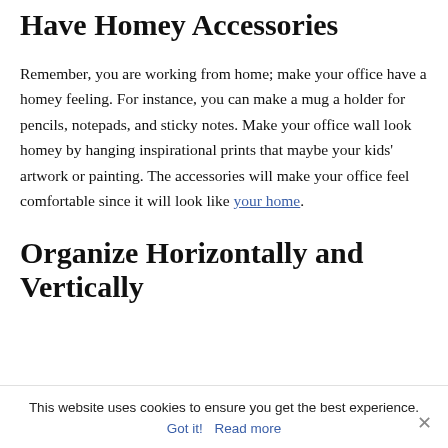Have Homey Accessories
Remember, you are working from home; make your office have a homey feeling. For instance, you can make a mug a holder for pencils, notepads, and sticky notes. Make your office wall look homey by hanging inspirational prints that maybe your kids' artwork or painting. The accessories will make your office feel comfortable since it will look like your home.
Organize Horizontally and Vertically
This website uses cookies to ensure you get the best experience. Got it! Read more